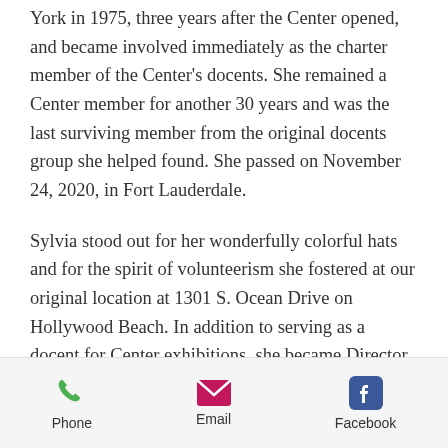York in 1975, three years after the Center opened, and became involved immediately as the charter member of the Center's docents. She remained a Center member for another 30 years and was the last surviving member from the original docents group she helped found. She passed on November 24, 2020, in Fort Lauderdale.
Sylvia stood out for her wonderfully colorful hats and for the spirit of volunteerism she fostered at our original location at 1301 S. Ocean Drive on Hollywood Beach. In addition to serving as a docent for Center exhibitions, she became Director of
Phone | Email | Facebook